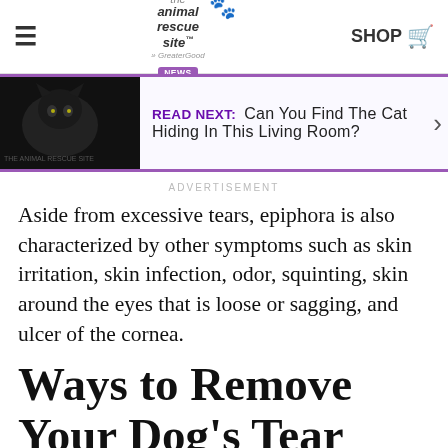the animal rescue site — SHOP
[Figure (screenshot): READ NEXT: Can You Find The Cat Hiding In This Living Room? banner with black cat image]
ADVERTISEMENT
Aside from excessive tears, epiphora is also characterized by other symptoms such as skin irritation, skin infection, odor, squinting, skin around the eyes that is loose or sagging, and ulcer of the cornea.
Ways to Remove Your Dog's Tear